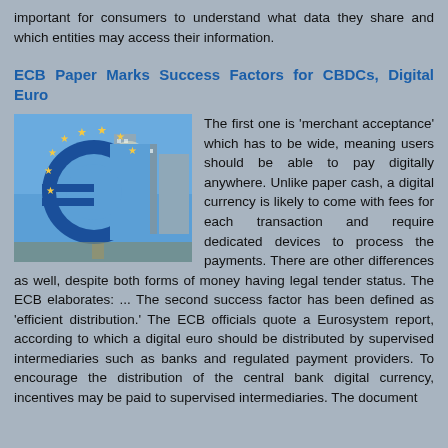important for consumers to understand what data they share and which entities may access their information.
ECB Paper Marks Success Factors for CBDCs, Digital Euro
[Figure (photo): Photo of the Euro symbol sculpture (large blue euro sign with gold stars) in front of Frankfurt skyscrapers against a blue sky.]
The first one is 'merchant acceptance' which has to be wide, meaning users should be able to pay digitally anywhere. Unlike paper cash, a digital currency is likely to come with fees for each transaction and require dedicated devices to process the payments. There are other differences as well, despite both forms of money having legal tender status. The ECB elaborates: ... The second success factor has been defined as 'efficient distribution.' The ECB officials quote a Eurosystem report, according to which a digital euro should be distributed by supervised intermediaries such as banks and regulated payment providers. To encourage the distribution of the central bank digital currency, incentives may be paid to supervised intermediaries. The document